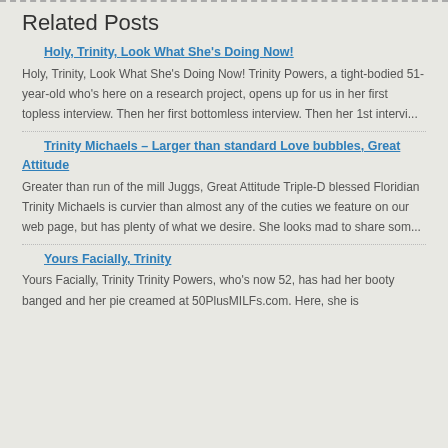Related Posts
Holy, Trinity, Look What She's Doing Now!
Holy, Trinity, Look What She's Doing Now! Trinity Powers, a tight-bodied 51-year-old who's here on a research project, opens up for us in her first topless interview. Then her first bottomless interview. Then her 1st intervi...
Trinity Michaels – Larger than standard Love bubbles, Great Attitude
Greater than run of the mill Juggs, Great Attitude Triple-D blessed Floridian Trinity Michaels is curvier than almost any of the cuties we feature on our web page, but has plenty of what we desire. She looks mad to share som...
Yours Facially, Trinity
Yours Facially, Trinity Trinity Powers, who's now 52, has had her booty banged and her pie creamed at 50PlusMILFs.com. Here, she is